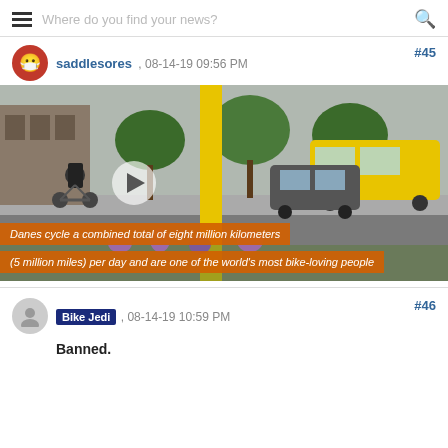Where do you find your news?
saddlesores , 08-14-19 09:56 PM
[Figure (screenshot): Video still of a city street scene with a cyclist, yellow post, trees, a yellow bus, and cars. Caption overlay reads: 'Danes cycle a combined total of eight million kilometers (5 million miles) per day and are one of the world's most bike-loving people']
#45
#46
Bike Jedi , 08-14-19 10:59 PM
Banned.